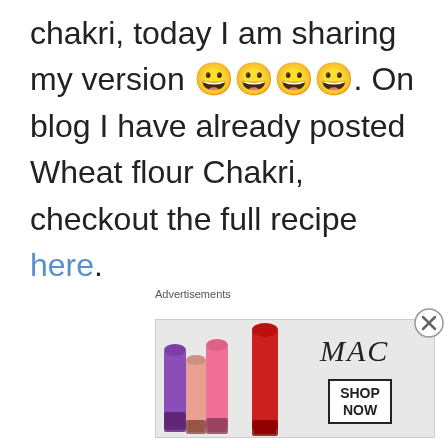chakri, today I am sharing my version 😀😀😀😀. On blog I have already posted Wheat flour Chakri, checkout the full recipe here.
For variations one can use boiled yellow Moong Dal (Split yellow
[Figure (other): MAC cosmetics advertisement banner showing colorful lipsticks, MAC logo, and SHOP NOW button]